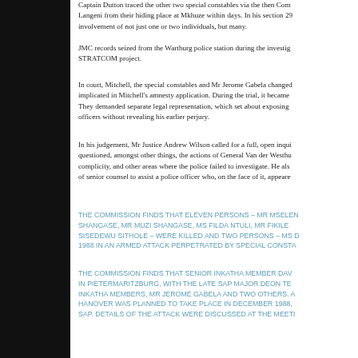Captain Dutton traced the other two special constables via the then Com Langeni from their hiding place at Mkhuze within days. In his section 29 involvement of not just one or two individuals, but many.
JMC records seized from the Wartburg police station during the investig STRATCOM project.
In court, Mitchell, the special constables and Mr Jerome Gabela changed implicated in Mitchell's amnesty application. During the trial, it became They demanded separate legal representation, which set about exposing officers without revealing his earlier perjury.
In his judgement, Mr Justice Andrew Wilson called for a full, open inqui questioned, amongst other things, the actions of General Van der Westhu complicity, and other areas where the police failed to investigate. He als of senior counsel to assist a police officer who, on the face of it, appeare
THE COMMISSION FINDS THAT ELEVEN PERSONS – MR MSELEN SHANGASE, MR MUZI SHANGASE, MS FILDA NTULI, MR FIKILE SISEDEWU SITHOLE – WERE KILLED AND TWO PERSONS – MS D 1988 IN AN ARMED ATTACK PERPETRATED BY SPECIAL CONSTA
THE COMMISSION FINDS THAT SENIOR INKATHA MEMBER DAV IN PIETERMARITZBURG, WITH THE LATE SAP MAJOR DEON TE INKATHA MEMBERS, MR JEROME GABELA AND TWO OTHERS. A HANOVER WAS PLANNED TO TAKE PLACE IN DECEMBER 1988, SAP. DETAILS OF THE ATTACK WERE DISCUSSED AT THE MEETI